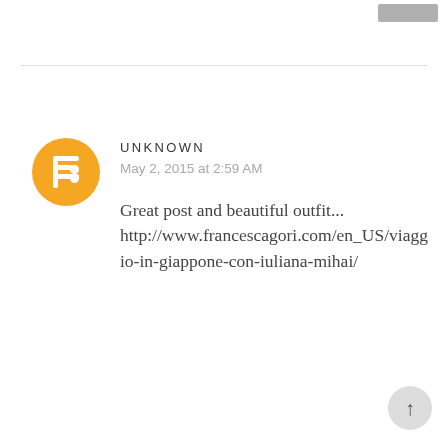[Figure (other): Gray rectangle button in top right corner]
[Figure (logo): Blogger orange circle avatar with white B logo]
UNKNOWN
May 2, 2015 at 2:59 AM
Great post and beautiful outfit... http://www.francescagori.com/en_US/viaggio-in-giappone-con-iuliana-mihai/
[Figure (other): Reply button, gray background]
[Figure (photo): Circular photo of Nadja Maisner, dark-haired woman]
NADJA MAISNER
May 2, 2015 at 5:24 AM
[Figure (other): Scroll-to-top circular button with upward arrow]